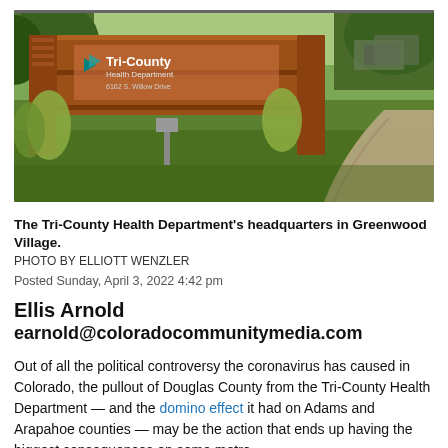[Figure (photo): Exterior photo of the Tri-County Health Department headquarters building in Greenwood Village, showing a brick sign reading 'Tri-County Health Department, 6162 S. Willow Drive' surrounded by green lawn, trees, and a winding walkway.]
The Tri-County Health Department's headquarters in Greenwood Village.
PHOTO BY ELLIOTT WENZLER
Posted Sunday, April 3, 2022 4:42 pm
Ellis Arnold
earnold@coloradocommunitymedia.com
Out of all the political controversy the coronavirus has caused in Colorado, the pullout of Douglas County from the Tri-County Health Department — and the domino effect it had on Adams and Arapahoe counties — may be the action that ends up having the biggest consequences on some metro D…